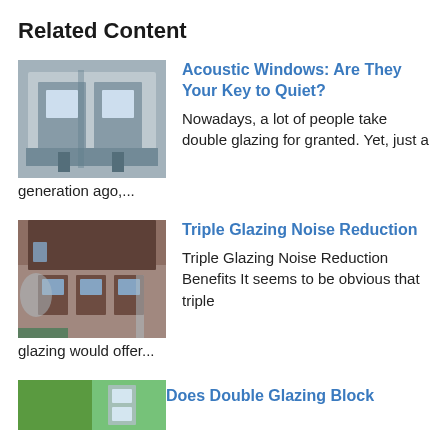Related Content
[Figure (photo): Photo of acoustic window cross-section showing glass panes and frame hardware]
Acoustic Windows: Are They Your Key to Quiet?
Nowadays, a lot of people take double glazing for granted. Yet, just a generation ago,...
[Figure (photo): Photo of a brick house exterior with wooden windows and an extension]
Triple Glazing Noise Reduction
Triple Glazing Noise Reduction Benefits It seems to be obvious that triple glazing would offer...
[Figure (photo): Partial photo of trees and glazing visible at bottom of page]
Does Double Glazing Block